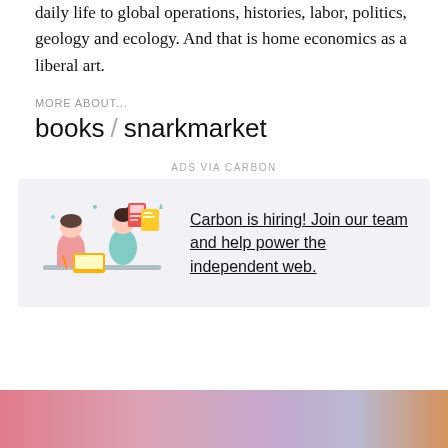daily life to global operations, histories, labor, politics, geology and ecology. And that is home economics as a liberal art.
MORE ABOUT...
books / snarkmarket
ADS VIA CARBON
[Figure (illustration): Advertisement box with an illustration of two people working at desks with a laptop and documents, and text: Carbon is hiring! Join our team and help power the independent web.]
HOME   ABOUT   ARCHIVE   ☰